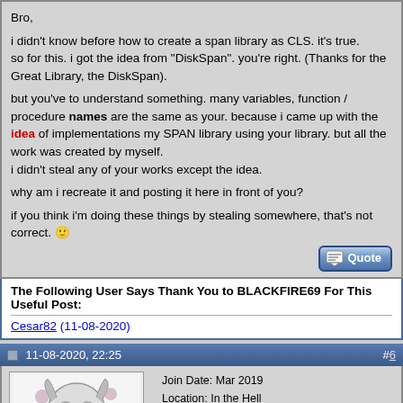Bro,

i didn't know before how to create a span library as CLS. it's true.
so for this. i got the idea from "DiskSpan". you're right. (Thanks for the Great Library, the DiskSpan).

but you've to understand something. many variables, function / procedure names are the same as your. because i came up with the idea of implementations my SPAN library using your library. but all the work was created by myself.
i didn't steal any of your works except the idea.

why am i recreate it and posting it here in front of you?

if you think i'm doing these things by stealing somewhere, that's not correct. 🙂
The Following User Says Thank You to BLACKFIRE69 For This Useful Post:
Cesar82 (11-08-2020)
11-08-2020, 22:25   #6
BLACKFIRE69
Registered User
Join Date: Mar 2019
Location: In the Hell
Posts: 363
Thanks: 290
Thanked 1,130 Times in 257 Posts